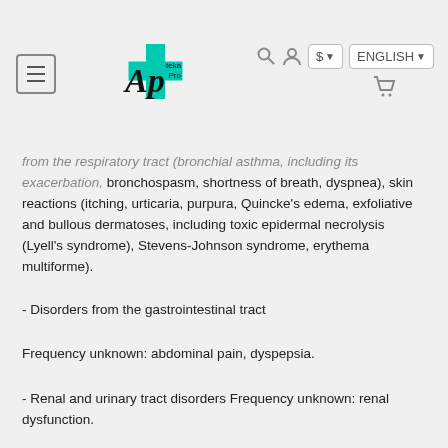Apteka Pro — [hamburger menu, logo, search, user, $ currency, ENGLISH language, cart]
from the respiratory tract (bronchial asthma, including its exacerbation, bronchospasm, shortness of breath, dyspnea), skin reactions (itching, urticaria, purpura, Quincke's edema, exfoliative and bullous dermatoses, including toxic epidermal necrolysis (Lyell's syndrome), Stevens-Johnson syndrome, erythema multiforme).
- Disorders from the gastrointestinal tract
Frequency unknown: abdominal pain, dyspepsia.
- Renal and urinary tract disorders Frequency unknown: renal dysfunction.